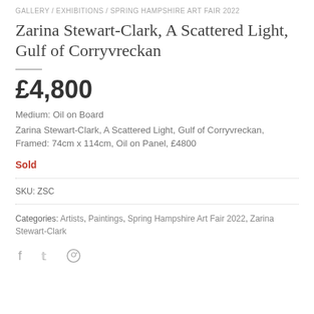GALLERY / EXHIBITIONS / SPRING HAMPSHIRE ART FAIR 2022
Zarina Stewart-Clark, A Scattered Light, Gulf of Corryvreckan
£4,800
Medium: Oil on Board
Zarina Stewart-Clark, A Scattered Light, Gulf of Corryvreckan, Framed: 74cm x 114cm, Oil on Panel, £4800
Sold
SKU: ZSC
Categories: Artists, Paintings, Spring Hampshire Art Fair 2022, Zarina Stewart-Clark